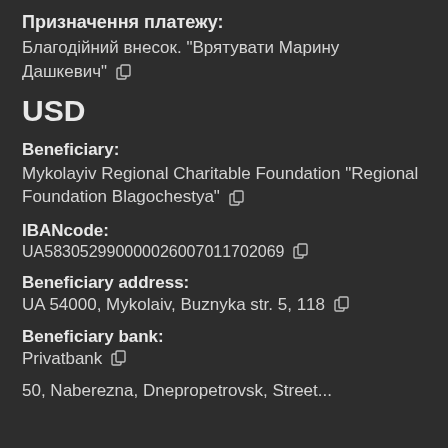Призначення платежу:
Благодійний внесок. "Врятувати Марину Дашкевич"
USD
Beneficiary:
Mykolayiv Regional Charitable Foundation "Regional Foundation Blagochestya"
IBANcode:
UA583052990000026007011702069
Beneficiary address:
UA 54000, Mykolaiv, Buznyka str. 5, 118
Beneficiary bank:
Privatbank
50, Naberezna, Dnepropetrovsk, Street...